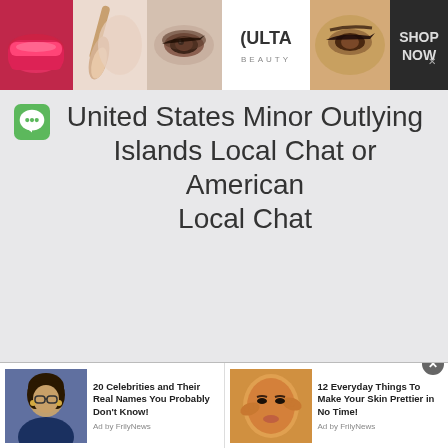[Figure (screenshot): Ulta Beauty advertisement banner with makeup images, logo, and SHOP NOW text]
United States Minor Outlying Islands Local Chat or American Local Chat
[Figure (screenshot): Bottom ad strip with two sponsored articles: '20 Celebrities and Their Real Names You Probably Don't Know!' and '12 Everyday Things To Make Your Skin Prettier in No Time!' both by Frily News]